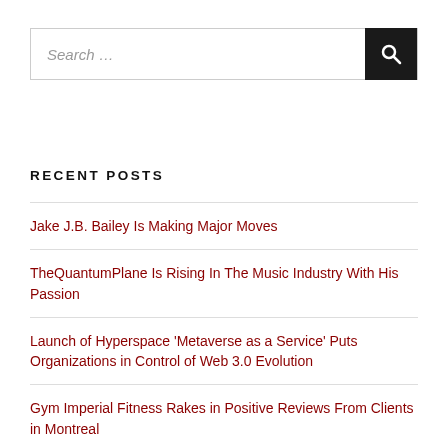Search …
RECENT POSTS
Jake J.B. Bailey Is Making Major Moves
TheQuantumPlane Is Rising In The Music Industry With His Passion
Launch of Hyperspace 'Metaverse as a Service' Puts Organizations in Control of Web 3.0 Evolution
Gym Imperial Fitness Rakes in Positive Reviews From Clients in Montreal